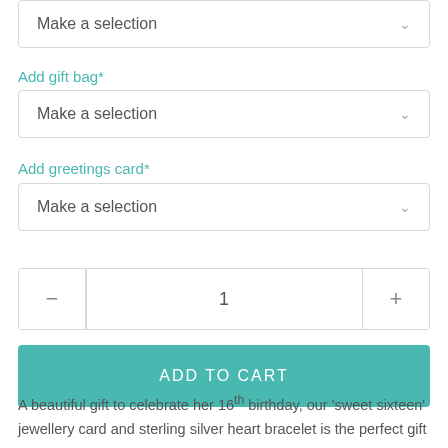[Figure (screenshot): Dropdown selector showing 'Make a selection' with chevron, partially visible at top]
Add gift bag*
[Figure (screenshot): Dropdown selector showing 'Make a selection' with chevron for gift bag]
Add greetings card*
[Figure (screenshot): Dropdown selector showing 'Make a selection' with chevron for greetings card]
[Figure (screenshot): Quantity selector with minus, 1, plus buttons]
[Figure (screenshot): ADD TO CART teal button]
A beautiful gift to celebrate her 16th birthday, our 'sweet sixteen' jewellery card and sterling silver heart bracelet is the perfect gift to celebrate